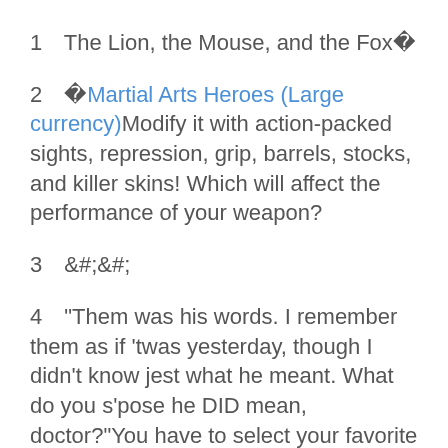1 The Lion, the Mouse, and the Fox�
2 �Martial Arts Heroes (Large currency)Modify it with action-packed sights, repression, grip, barrels, stocks, and killer skins! Which will affect the performance of your weapon?
3 &#;&#;
4 "Them was his words. I remember them as if 'twas yesterday, though I didn't know jest what he meant. What do you s'pose he DID mean, doctor?"You have to select your favorite players for the team and accordingly train them for better performance in various tournaments. In the meantime, you will find yourself indulged in multiple off-field activities like